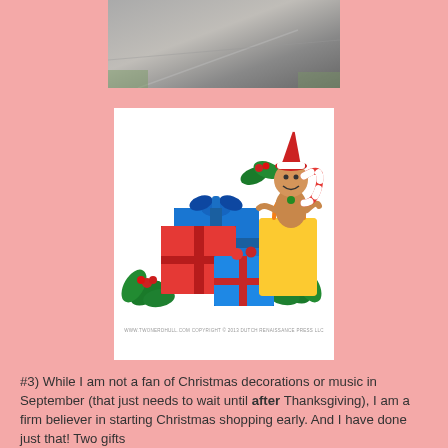[Figure (photo): Partial photo of outdoor scene, appears to show concrete/pavement and grass, cropped at top of page]
[Figure (illustration): Christmas illustration showing colorful wrapped gift boxes (red, blue, yellow), holly leaves and berries, a gingerbread man with Santa hat, and a candy cane. White background with small copyright text at bottom reading: WWW.TWONERDHULL.COM COPYRIGHT C 2013 DUTCH RENAISSANCE PRESS LLC]
#3)  While I am not a fan of Christmas decorations or music in September (that just needs to wait until after Thanksgiving), I am a firm believer in starting Christmas shopping early.  And I have done just that!  Two gifts